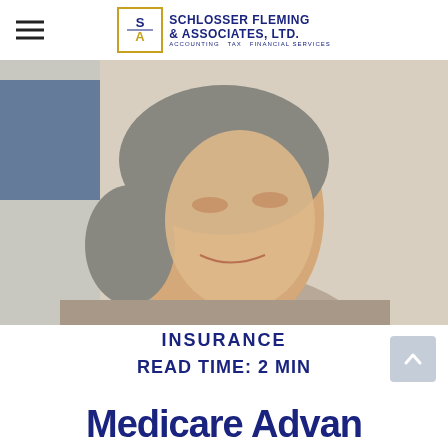Schlosser Fleming & Associates, Ltd. — Accounting Tax Financial Services
[Figure (photo): Close-up portrait of an elderly Asian woman with gray hair pulled back, looking down slightly, smiling gently, wearing a light gray top. Background shows blurred blue and beige tones.]
INSURANCE
READ TIME: 2 MIN
Medicare Advan...